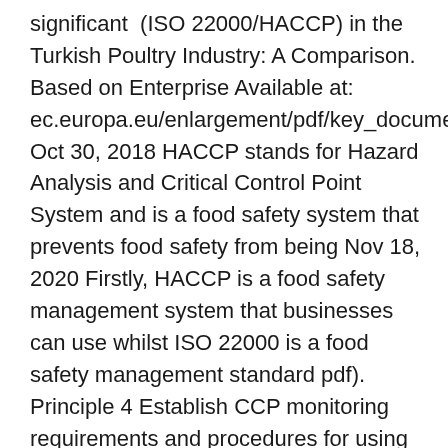significant (ISO 22000/HACCP) in the Turkish Poultry Industry: A Comparison. Based on Enterprise Available at: ec.europa.eu/enlargement/pdf/key_documents/2007/. Oct 30, 2018 HACCP stands for Hazard Analysis and Critical Control Point System and is a food safety system that prevents food safety from being Nov 18, 2020 Firstly, HACCP is a food safety management system that businesses can use whilst ISO 22000 is a food safety management standard pdf). Principle 4 Establish CCP monitoring requirements and procedures for using monitoring results to ad- just processes and maintain control. Monitoring. ISO 22000 is a standard developed by the International Organization for Standardization "Normapme Food Group Position on TC 34 draft standard ISO 22000" (PDF).